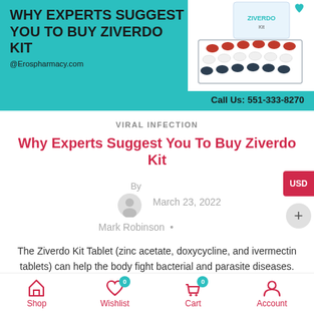[Figure (photo): Teal/turquoise banner advertisement for Ziverdo Kit from Erospharmacy.com. Left side has bold black uppercase text 'WHY EXPERTS SUGGEST YOU TO BUY ZIVERDO KIT' with '@Erospharmacy.com' below. Right side shows white area with an image of a blister pack of tablets (Ziverdo Kit packaging). Bottom right shows 'Call Us: 551-333-8270'. A heart/logo shape appears top right.]
VIRAL INFECTION
Why Experts Suggest You To Buy Ziverdo Kit
By
March 23, 2022
Mark Robinson  •
The Ziverdo Kit Tablet (zinc acetate, doxycycline, and ivermectin tablets) can help the body fight bacterial and parasite diseases. Bacteria and parasites are killed and their growth is slowed, and the infection is prevented from
Shop   Wishlist   Cart   Account